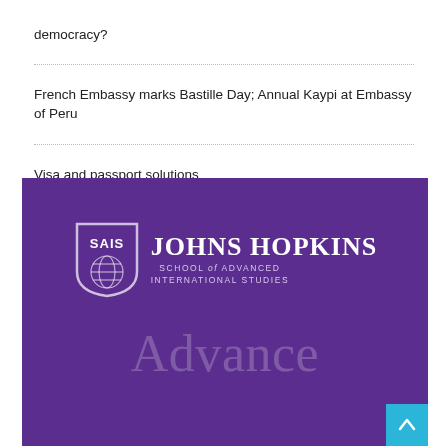democracy?
French Embassy marks Bastille Day; Annual Kaypi at Embassy of Peru
Visa and passport solutions
[Figure (logo): Johns Hopkins SAIS (School of Advanced International Studies) advertisement banner with purple background, SAIS shield logo, institution name, and 'Advance' text at bottom]